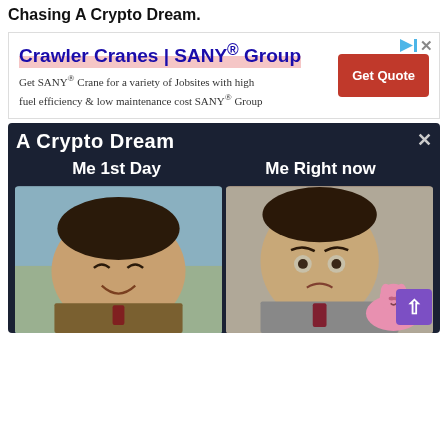Chasing A Crypto Dream.
[Figure (screenshot): Advertisement banner for Crawler Cranes by SANY Group with a red 'Get Quote' button and ad icons]
[Figure (photo): A crypto meme showing 'A Crypto Dream' header text with two side-by-side photos of Mr. Bean — left labeled 'Me 1st Day' showing him happy/smiling, right labeled 'Me Right now' showing him sad/crying with a Pink Panther toy. There is an X close button on the right. A purple back-to-top arrow button is in the bottom right corner.]